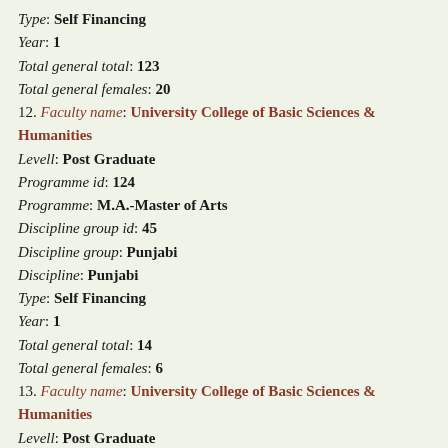Type: Self Financing
Year: 1
Total general total: 123
Total general females: 20
12. Faculty name: University College of Basic Sciences & Humanities
Levell: Post Graduate
Programme id: 124
Programme: M.A.-Master of Arts
Discipline group id: 45
Discipline group: Punjabi
Discipline: Punjabi
Type: Self Financing
Year: 1
Total general total: 14
Total general females: 6
13. Faculty name: University College of Basic Sciences & Humanities
Levell: Post Graduate
Programme id: 124
Programme: M.A.-Master of Arts
Discipline group id: 45
Discipline group: Punjabi
Discipline: Punjabi
Type: Self Financing